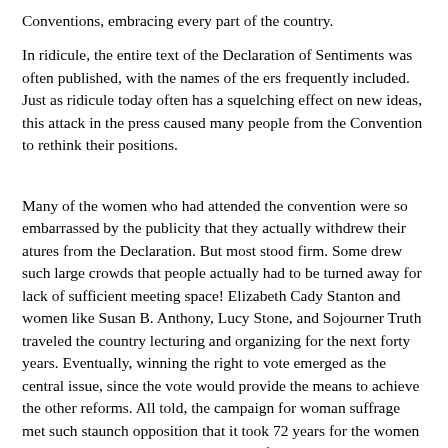Conventions, embracing every part of the country.
In ridicule, the entire text of the Declaration of Sentiments was often published, with the names of the ers frequently included. Just as ridicule today often has a squelching effect on new ideas, this attack in the press caused many people from the Convention to rethink their positions.
Many of the women who had attended the convention were so embarrassed by the publicity that they actually withdrew their atures from the Declaration. But most stood firm. Some drew such large crowds that people actually had to be turned away for lack of sufficient meeting space! Elizabeth Cady Stanton and women like Susan B. Anthony, Lucy Stone, and Sojourner Truth traveled the country lecturing and organizing for the next forty years. Eventually, winning the right to vote emerged as the central issue, since the vote would provide the means to achieve the other reforms. All told, the campaign for woman suffrage met such staunch opposition that it took 72 years for the women and their male supporters to be successful.
As you might imagine, any year campaign includes thousands of political strategists, capable organizers, administrators, activists and lobbyists. As are they...